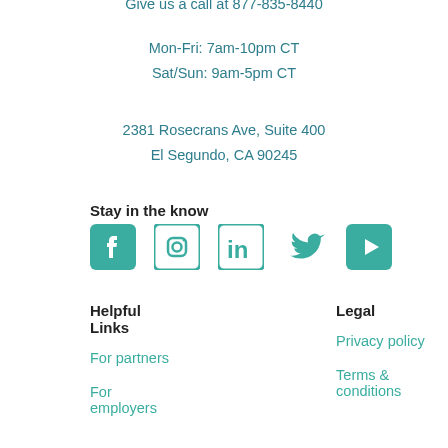Give us a call at 877-835-8440
Mon-Fri: 7am-10pm CT
Sat/Sun: 9am-5pm CT
2381 Rosecrans Ave, Suite 400
El Segundo, CA 90245
Stay in the know
[Figure (illustration): Social media icons: Facebook, Instagram, LinkedIn, Twitter, YouTube in teal color]
Helpful Links
Legal
For partners
Privacy policy
For employers
Terms & conditions